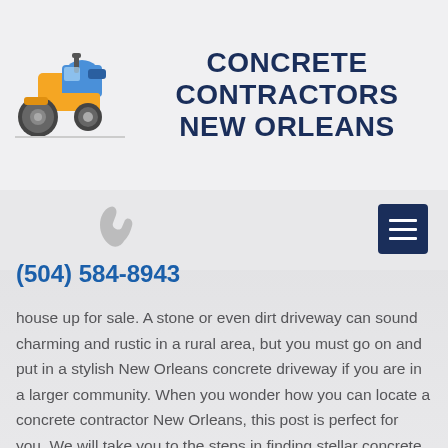[Figure (logo): Yellow and blue road roller / steamroller construction vehicle logo]
CONCRETE CONTRACTORS NEW ORLEANS
[Figure (other): Gray phone icon]
[Figure (other): Dark navy hamburger menu button with three white horizontal lines]
(504) 584-8943
house up for sale. A stone or even dirt driveway can sound charming and rustic in a rural area, but you must go on and put in a stylish New Orleans concrete driveway if you are in a larger community. When you wonder how you can locate a concrete contractor New Orleans, this post is perfect for you. We will take you to the steps in finding stellar concrete companies New Orleans, wherever you are located.